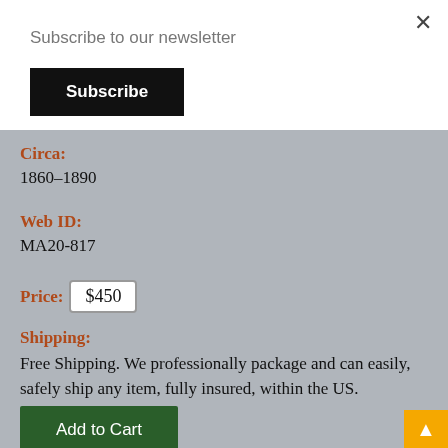Subscribe to our newsletter
Subscribe
Circa:
1860–1890
Web ID:
MA20-817
Price:
$450
Shipping:
Free Shipping. We professionally package and can easily, safely ship any item, fully insured, within the US.
Add to Cart